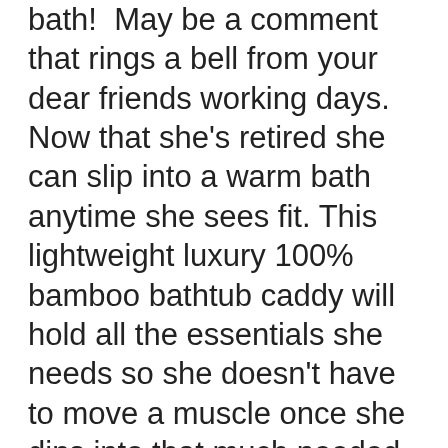bath! May be a comment that rings a bell from your dear friends working days. Now that she's retired she can slip into a warm bath anytime she sees fit. This lightweight luxury 100% bamboo bathtub caddy will hold all the essentials she needs so she doesn't have to move a muscle once she dips into that much needed bath. There's a place for bath salts and a secure place for her glass of wine. It even has a stand for her iPad or tablet as well as your iPhone. Measuring 29 ½ inches when closed and extends to 43 inches so it will fit any bathtub. The silicone grips ensure it will stay in place. Bamboo is known to be stronger than steel and more durable than